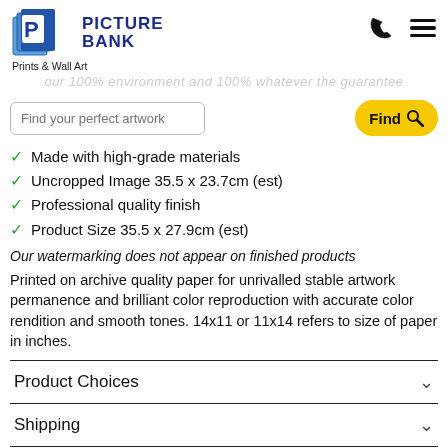[Figure (logo): Picture Bank logo with stylized pages icon and blue text reading PICTURE BANK]
Prints & Wall Art
...guarantee...
Made with high-grade materials
Uncropped Image 35.5 x 23.7cm (est)
Professional quality finish
Product Size 35.5 x 27.9cm (est)
Our watermarking does not appear on finished products
Printed on archive quality paper for unrivalled stable artwork permanence and brilliant color reproduction with accurate color rendition and smooth tones. 14x11 or 11x14 refers to size of paper in inches.
Product Choices
Shipping